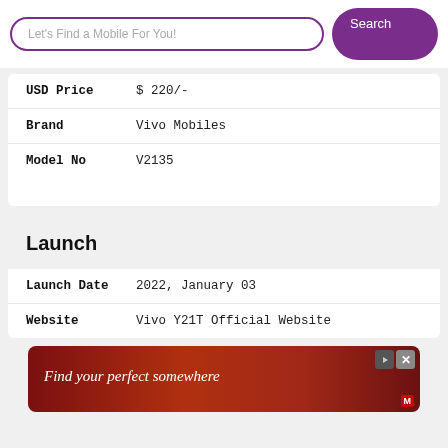Let's Find a Mobile For You! Search
| Field | Value |
| --- | --- |
| USD Price | $ 220/- |
| Brand | Vivo Mobiles |
| Model No | V2135 |
Launch
| Field | Value |
| --- | --- |
| Launch Date | 2022, January 03 |
| Website | Vivo Y21T Official Website |
[Figure (other): Advertisement banner: Find your perfect somewhere]